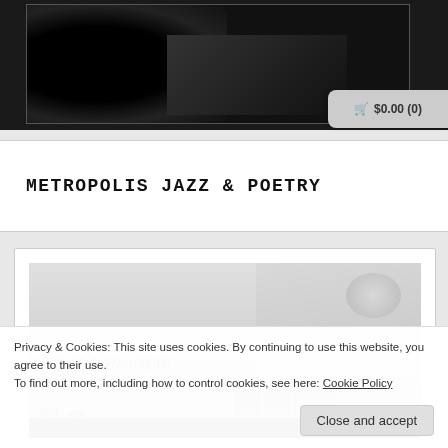[Figure (photo): Black and white photo at the top of the page, partially cropped]
METROPOLIS JAZZ & POETRY
[Figure (photo): Black and white interior photo of Schallplatten-BAR venue]
Privacy & Cookies: This site uses cookies. By continuing to use this website, you agree to their use.
To find out more, including how to control cookies, see here: Cookie Policy
Close and accept